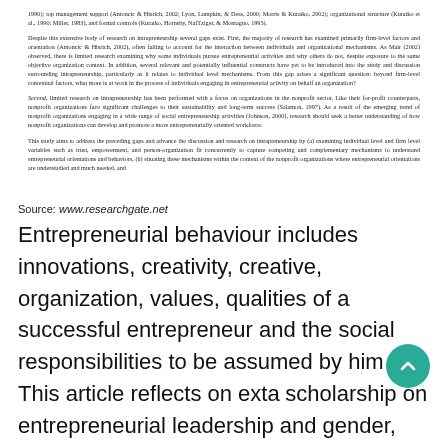1990); top management support (Antoncic & Hisrich, 2002; Lyon, Lumpkin, & Dess, 2000; Morris & Kuratko, 2002); organizational structure (Kuratko et al., 1990; Miller, 1983), and formal controls (Kuratko, Hornsby, NafTziger, & Montagno, 1993).
Despite this extensive body of research on intrapreneurship several gaps exist. First, the majority of research has examined primarily firm-level factors and orientation (Antoncic & Hisrich, 2002), often failing to account for the interaction between individuals and organizational mechanisms. As Mair (2002) observed, there is limited research examining why some individuals pursue entrepreneurial activities and why others do not, despite exposure to the same objective organization context. In addition, several relevant and potentially influential constructs have yet to be introduced into the study and discussion surrounding intrapreneurship, particularly as it relates to individual level mechanisms. From this gap arises a significant question: beyond firm-level contextual factors, what more is at work in the process of individuals engaging in entrepreneurial activity on behalf an organization?
Second, limited research on intrapreneurship has been performed with a focus on organizations in the nonprofit sector. Like their for-profit counterparts, nonprofit organizations face significant challenges to their sustainability and long-term success (Salamon, 1997). As a result of the emerging trend of nonprofit organizations engaging in a wide range of social entrepreneurship activities (Johnson, 2000), research should seek a better understanding of how nonprofit organizations can develop and promote a more entrepreneurially oriented workforce.
This study aims to address the preceding gaps and advance the discussion and research on intrapreneurship by (a) examining individual level and firm level variables such as trust, empowerment, and person-organization fit concurrently to capture competing and complementary mechanisms to understand entrepreneurial orientations and behaviors, (b) situating these mechanisms within the context of the nonprofit organizations where entrepreneurial orientations are understudied and much needed, and
Source: www.researchgate.net
Entrepreneurial behaviour includes innovations, creativity, creative, organization, values, qualities of a successful entrepreneur and the social responsibilities to be assumed by him etc. This article reflects on extra scholarship on entrepreneurial leadership and gender,